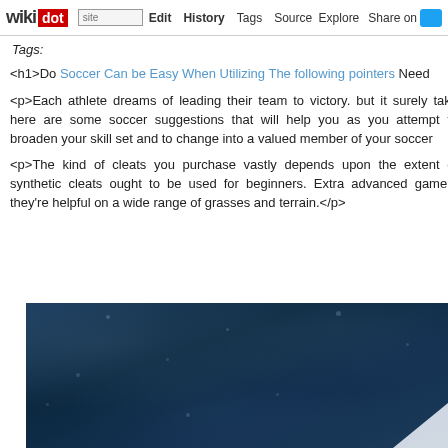wikidot | site Edit History Tags Source Explore Share on [Twitter]
Tags:
<h1>Do Soccer Can be Easy When Utilizing The following pointers Need
<p>Each athlete dreams of leading their team to victory. but it surely take here are some soccer suggestions that will help you as you attempt to broaden your skill set and to change into a valued member of your soccer
<p>The kind of cleats you purchase vastly depends upon the extent of synthetic cleats ought to be used for beginners. Extra advanced gamers they're helpful on a wide range of grasses and terrain.</p>
[Figure (photo): Dark blue image, possibly a night sky or sports field under lights with scattered light spots and a partial white shape in the bottom right corner.]